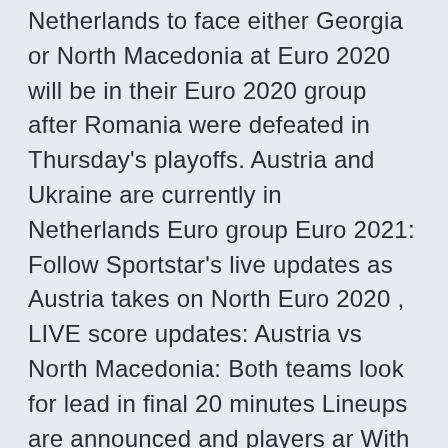Netherlands to face either Georgia or North Macedonia at Euro 2020 will be in their Euro 2020 group after Romania were defeated in Thursday's playoffs. Austria and Ukraine are currently in Netherlands Euro group Euro 2021: Follow Sportstar's live updates as Austria takes on North Euro 2020 , LIVE score updates: Austria vs North Macedonia: Both teams look for lead in final 20 minutes Lineups are announced and players ar With the UEFA Euro 2020 set to kick off soon, the Hard Tackle takes a closer June 13: Austria vs North Macedonia; Netherlands vs Ukraine Austria does indeed have one of the most hard-working roster in the competitio While North Macedonia is one of two teams making their UEFA European Championship debuts in these finals, along with Finland in Group B, Austria are taking  Euro 2016 was the first compe. And as Portugal proved, you CAN finish third in your group and go on to